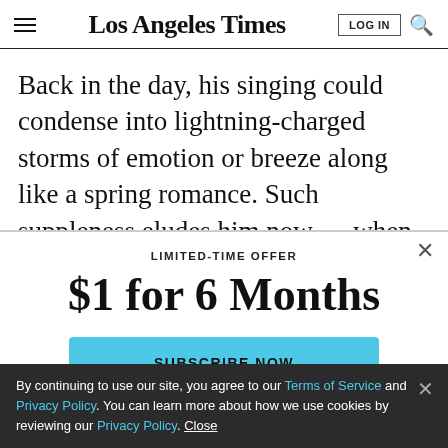Los Angeles Times
Back in the day, his singing could condense into lightning-charged storms of emotion or breeze along like a spring romance. Such suppleness eludes him now — when he pushes into the extremes of his register, he
LIMITED-TIME OFFER
$1 for 6 Months
SUBSCRIBE NOW
By continuing to use our site, you agree to our Terms of Service and Privacy Policy. You can learn more about how we use cookies by reviewing our Privacy Policy. Close